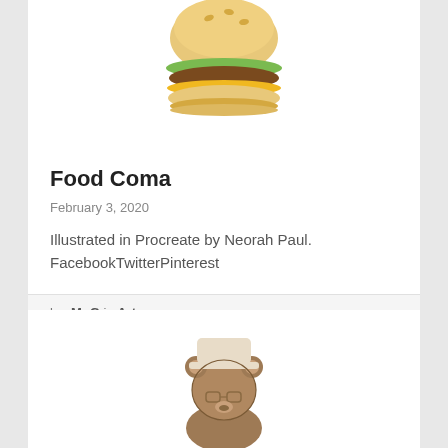[Figure (illustration): Cartoon illustration of a hamburger/cheeseburger, partially visible at top of card]
Food Coma
February 3, 2020
Illustrated in Procreate by Neorah Paul. FacebookTwitterPinterest
by: MoG in Art
1,126   0   0
[Figure (illustration): Cartoon illustration of a bear-like character wearing glasses and a hat, partially visible in second card]